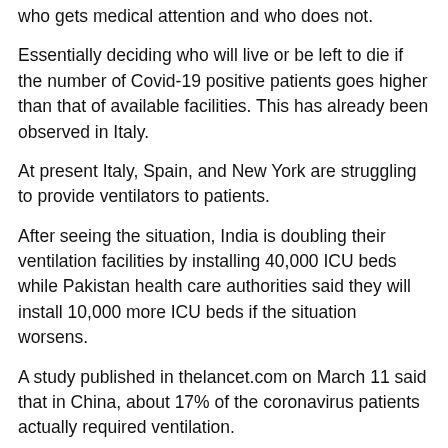who gets medical attention and who does not.
Essentially deciding who will live or be left to die if the number of Covid-19 positive patients goes higher than that of available facilities. This has already been observed in Italy.
At present Italy, Spain, and New York are struggling to provide ventilators to patients.
After seeing the situation, India is doubling their ventilation facilities by installing 40,000 ICU beds while Pakistan health care authorities said they will install 10,000 more ICU beds if the situation worsens.
A study published in thelancet.com on March 11 said that in China, about 17% of the coronavirus patients actually required ventilation.
However, the Information, Communication, Awareness and Panic Management group of the Integrated Control Room for combating coronavirus in Bangladesh said they are assuming that some 5-6% patients might need ventilation if the crisis emerges. The rest of the patients would not require ventilation.